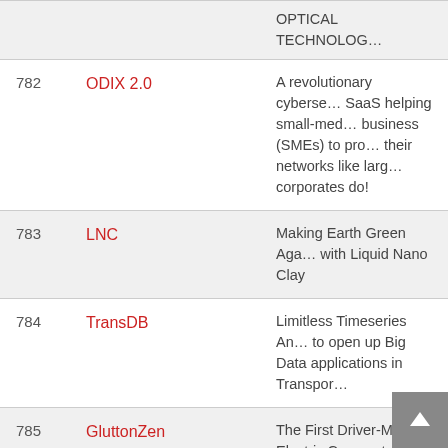| # | Name | Description |
| --- | --- | --- |
|  |  | OPTICAL TECHNOLOG... |
| 782 | ODIX 2.0 | A revolutionary cyberse... SaaS helping small-med... business (SMEs) to pro... their networks like larg... corporates do! |
| 783 | LNC | Making Earth Green Aga... with Liquid Nano Clay |
| 784 | TransDB | Limitless Timeseries An... to open up Big Data applications in Transpor... |
| 785 | GluttonZen | The First Driver-Minde... Electric Compact Street... Sweeper |
| 786 | SSB | Surgify Safety Burr |
| 787 | Cumucore | An innovative virtual... |